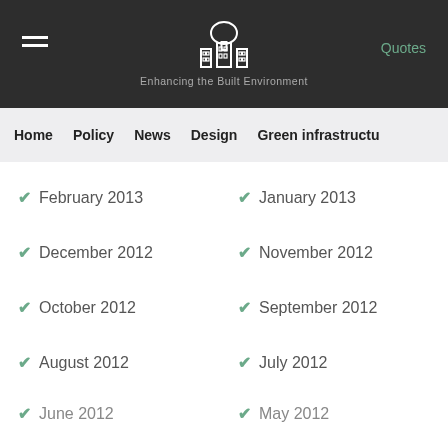Enhancing the Built Environment — Quotes | Home | Policy | News | Design | Green infrastructure
February 2013
January 2013
December 2012
November 2012
October 2012
September 2012
August 2012
July 2012
June 2012
May 2012